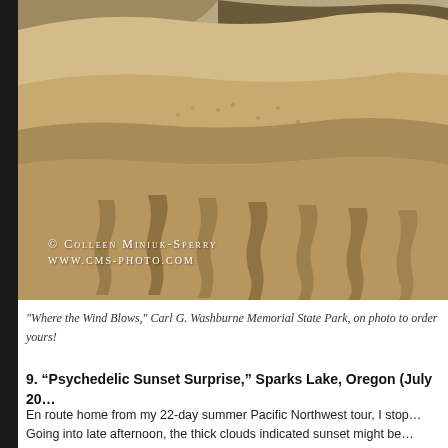[Figure (photo): Aerial photograph of sand dunes at Carl G. Washburne Memorial State Park, showing wind-sculpted sandy ridges with dramatic shadows and textures. Watermark reads: © Colleen Miniuk-Sperry / www.cms-photo.com]
"Where the Wind Blows," Carl G. Washburne Memorial State Park, on photo to order yours!
9. "Psychedelic Sunset Surprise," Sparks Lake, Oregon (July 20...
En route home from my 22-day summer Pacific Northwest tour, I stop... Going into late afternoon, the thick clouds indicated sunset might be...